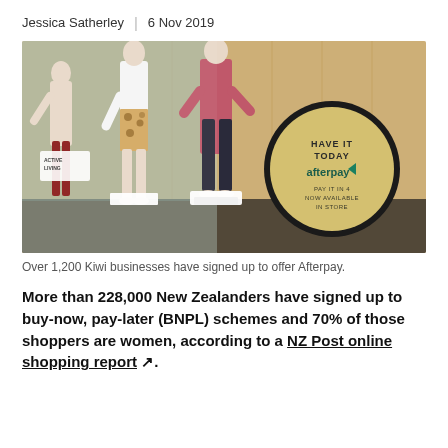Jessica Satherley | 6 Nov 2019
[Figure (photo): Retail store window display with mannequins wearing casual clothing, with a large circular Afterpay sign reading 'HAVE IT TODAY afterpay PAY IT IN 4 NOW AVAILABLE IN STORE']
Over 1,200 Kiwi businesses have signed up to offer Afterpay.
More than 228,000 New Zealanders have signed up to buy-now, pay-later (BNPL) schemes and 70% of those shoppers are women, according to a NZ Post online shopping report.